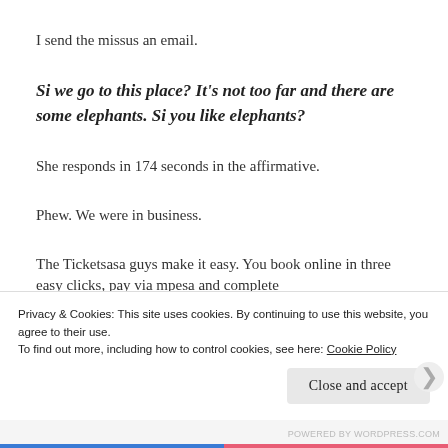I send the missus an email.
Si we go to this place? It's not too far and there are some elephants. Si you like elephants?
She responds in 174 seconds in the affirmative.
Phew. We were in business.
The Ticketsasa guys make it easy. You book online in three easy clicks, pay via mpesa and complete
Privacy & Cookies: This site uses cookies. By continuing to use this website, you agree to their use.
To find out more, including how to control cookies, see here: Cookie Policy
Close and accept